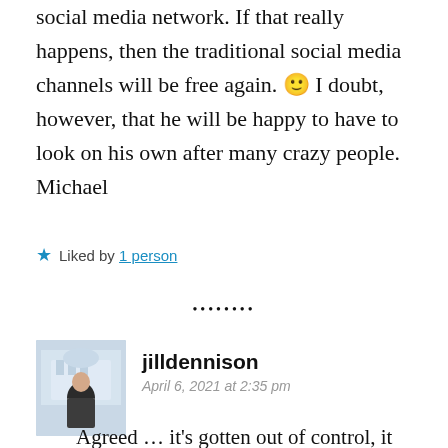social media network. If that really happens, then the traditional social media channels will be free again. 🙂 I doubt, however, that he will be happy to have to look on his own after many crazy people. Michael
Liked by 1 person
[Figure (other): Decorative dots separator row]
[Figure (photo): Avatar photo of jilldennison - woman standing outdoors in front of a building]
jilldennison
April 6, 2021 at 2:35 pm
Agreed … it's gotten out of control, it seems … some young people today never speak a whole sentence